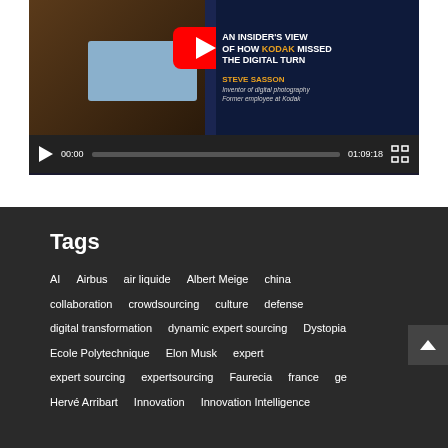[Figure (screenshot): YouTube video player showing 'An Insider's View of How Kodak Missed the Digital Turn' by Steve Sasson, inventor of digital photography, former employee at Kodak. Video duration 01:09:18, paused at 00:00.]
Tags
AI
Airbus
air liquide
Albert Meige
china
collaboration
crowdsourcing
culture
defense
digital transformation
dynamic expert sourcing
Dystopia
Ecole Polytechnique
Elon Musk
expert
expert sourcing
expertsourcing
Faurecia
france
ge
Hervé Arribart
Innovation
Innovation Intelligence